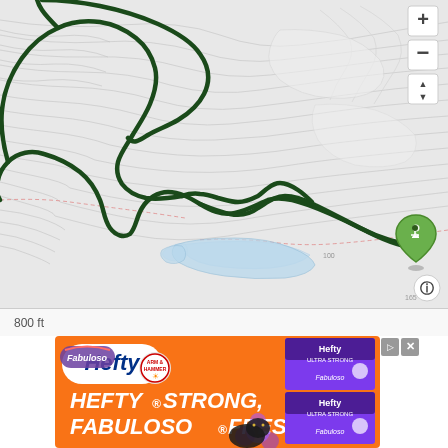[Figure (map): Topographic trail map showing a hiking route traced in dark green over gray contour lines. The route forms a large loop with a trailhead marker (green pin with hiker icon) on the right side. A lake area appears in light blue at bottom center. Map controls (zoom +/-) and a navigation arrow are visible in the top right. An info button is in the bottom right.]
800 ft
[Figure (infographic): Advertisement banner for Hefty brand products. Orange background with 'Hefty' logo and 'Fabuloso' branding on left, product images (Hefty Ultra Strong bags) on right. Text reads 'HEFTY STRONG, FABULOSO FRESH' in large white bold letters.]